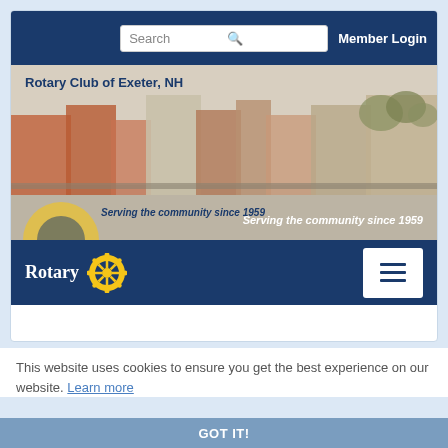[Figure (screenshot): Rotary Club of Exeter NH website screenshot showing nav bar with search and member login, hero banner with town photo and tagline 'Serving the community since 1959', and Rotary branding bar with hamburger menu]
This website uses cookies to ensure you get the best experience on our website. Learn more
Join Leaders - Exchange Ideas - Take Action
GOT IT!